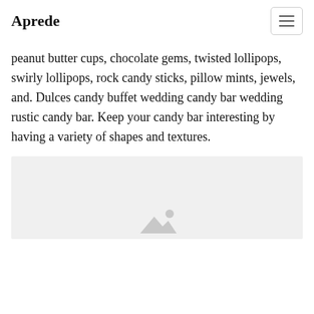Aprede
peanut butter cups, chocolate gems, twisted lollipops, swirly lollipops, rock candy sticks, pillow mints, jewels, and. Dulces candy buffet wedding candy bar wedding rustic candy bar. Keep your candy bar interesting by having a variety of shapes and textures.
[Figure (photo): Image placeholder with a mountain/landscape icon on a light grey background]